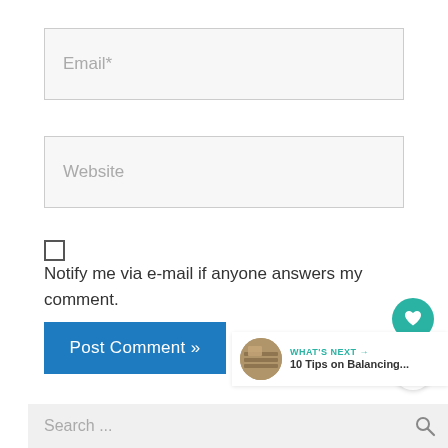[Figure (screenshot): Email input field placeholder with text 'Email*' on light gray background]
[Figure (screenshot): Website input field placeholder with text 'Website' on light gray background]
Notify me via e-mail if anyone answers my comment.
[Figure (screenshot): Blue 'Post Comment »' button]
[Figure (screenshot): Teal circular heart/like button and white circular share button on right side]
[Figure (screenshot): WHAT'S NEXT panel with thumbnail and text '10 Tips on Balancing...']
[Figure (screenshot): Search bar at bottom with placeholder 'Search ...' and magnifier icon]